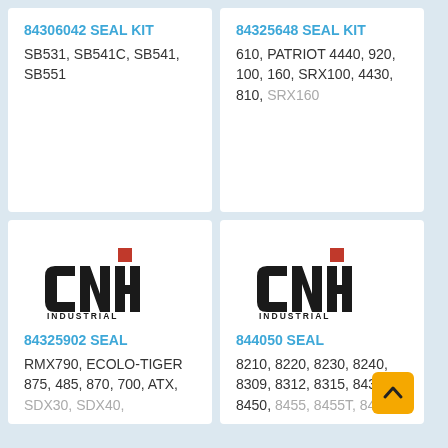84306042 SEAL KIT — SB531, SB541C, SB541, SB551
84325648 SEAL KIT — 610, PATRIOT 4440, 920, 100, 160, SRX100, 4430, 810, SRX160
[Figure (logo): CNH Industrial logo with red square accent]
84325902 SEAL — RMX790, ECOLO-TIGER 875, 485, 870, 700, ATX, SDX30, SDX40,
[Figure (logo): CNH Industrial logo with red square accent]
844050 SEAL — 8210, 8220, 8230, 8240, 8309, 8312, 8315, 8435, 8450, 8455, 8455T, 8460,